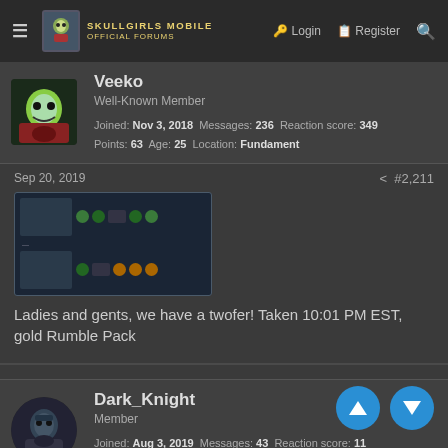Skullgirls Mobile Official Forums — Login | Register
Veeko
Well-Known Member
Joined: Nov 3, 2018  Messages: 236  Reaction score: 349
Points: 63  Age: 25  Location: Fundament
Sep 20, 2019  #2,211
[Figure (screenshot): Screenshot of in-game gold Rumble Pack pull results showing two character cards]
Ladies and gents, we have a twofer! Taken 10:01 PM EST, gold Rumble Pack
Dark_Knight
Member
Joined: Aug 3, 2019  Messages: 43  Reaction score: 11
Points: 8  Age: 27
Sep 20, 2019